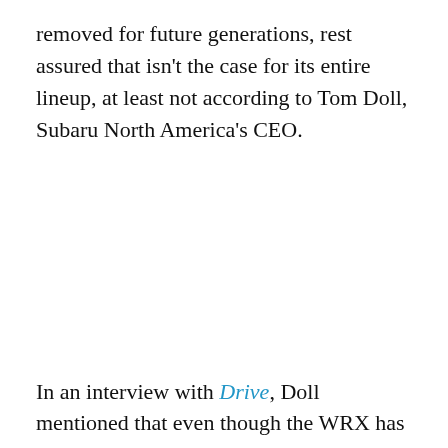removed for future generations, rest assured that isn't the case for its entire lineup, at least not according to Tom Doll, Subaru North America's CEO.
In an interview with Drive, Doll mentioned that even though the WRX has undergone the CVT transplant to